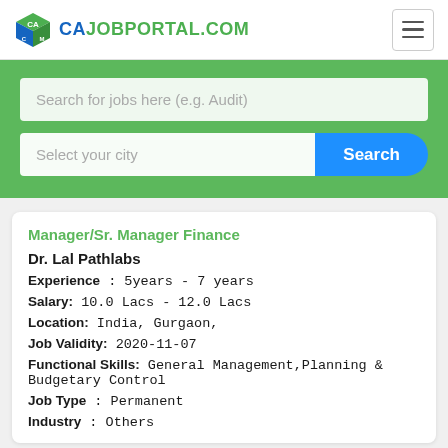CAJOBPORTAL.COM
[Figure (screenshot): Search bar with input 'Search for jobs here (e.g. Audit)' and city selector with Search button on green background]
Manager/Sr. Manager Finance
Dr. Lal Pathlabs
Experience : 5years - 7 years
Salary: 10.0 Lacs - 12.0 Lacs
Location: India, Gurgaon,
Job Validity: 2020-11-07
Functional Skills: General Management,Planning & Budgetary Control
Job Type : Permanent
Industry : Others